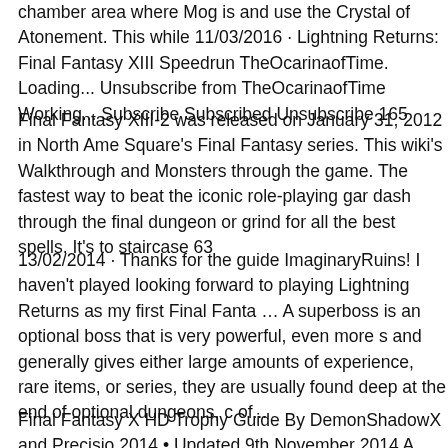chamber area where Mog is and use the Crystal of Atonement. This while 11/03/2016 · Lightning Returns: Final Fantasy XIII Speedrun TheOcarinaofTime. Loading... Unsubscribe from TheOcarinaofTime Working... Subscribe Subscribed Unsubscribe 165
Final Fantasy XIII-2 was released on January 31, 2012 in North Ame Square's Final Fantasy series. This wiki's Walkthrough and Monsters through the game. The fastest way to beat the iconic role-playing gar dash through the final dungeon or grind for all the best spells. It's to staircase 63
13/02/2014 · Thanks for the guide ImaginaryRuins! I haven't played looking forward to playing Lightning Returns as my first Final Fanta … A superboss is an optional boss that is very powerful, even more s and generally gives either large amounts of experience, rare items, or series, they are usually found deep at the end of optional dungeons, c of...
Final Fantasy X HD Trophy Guide By DemonShadowX and Precisio 2014 • Updated 9th November 2014 A Guide to help you earn the Pl